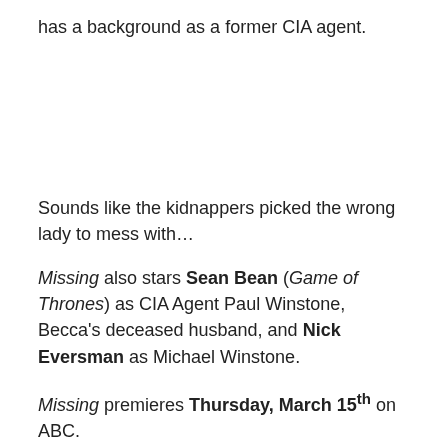has a background as a former CIA agent.
Sounds like the kidnappers picked the wrong lady to mess with…
Missing also stars Sean Bean (Game of Thrones) as CIA Agent Paul Winstone, Becca's deceased husband, and Nick Eversman as Michael Winstone.
Missing premieres Thursday, March 15th on ABC.